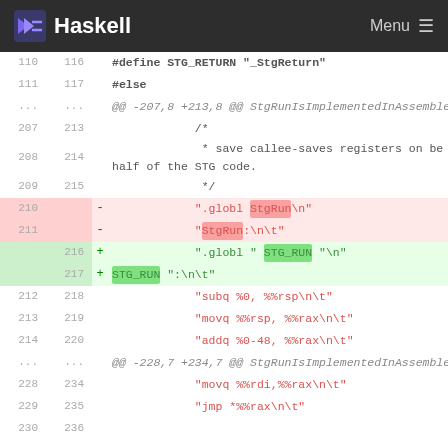Haskell  Menu
Diff view of Haskell GHC source file showing changes to assembly code in StgRunIsImplementedInAssembler function. Lines 110-230 shown with deletions of StgRun and additions of STG_RUN macro.